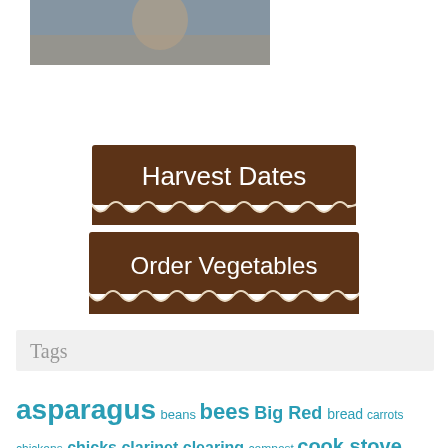[Figure (photo): Partial photo of a person or animal, cropped, showing muted tones]
[Figure (illustration): Brown banner button with white text reading 'Harvest Dates' with decorative wavy bottom edge]
[Figure (illustration): Brown banner button with white text reading 'Order Vegetables' with decorative wavy bottom edge]
Tags
asparagus beans bees Big Red bread carrots chickens chicks clarinet clearing compost cook stove wood egg mobile eggs flowers freezing garlic green manures Greens hens jam ken stories ken story local food mobile